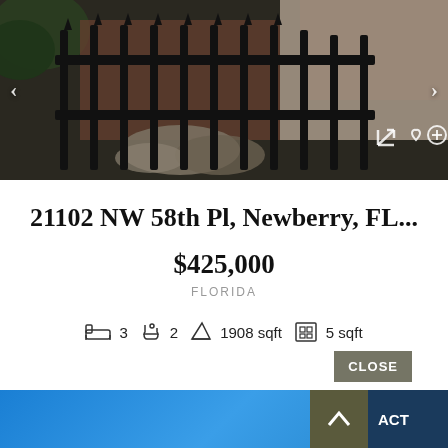[Figure (photo): Exterior photo of property showing black iron fence/railing, brick structure, stone elements, and shingle roof. Navigation arrows on left and right sides. Heart and plus icons at bottom right.]
21102 NW 58th Pl, Newberry, FL...
$425,000
FLORIDA
3  2  1908 sqft  5 sqft